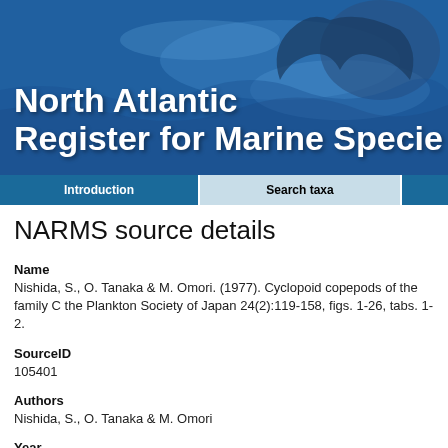[Figure (photo): Header banner with ocean/whale tail photograph and white bold text reading 'North Atlantic Register for Marine Specie']
Introduction | Search taxa
NARMS source details
Name
Nishida, S., O. Tanaka & M. Omori. (1977). Cyclopoid copepods of the family C the Plankton Society of Japan 24(2):119-158, figs. 1-26, tabs. 1-2.
SourceID
105401
Authors
Nishida, S., O. Tanaka & M. Omori
Year
1977
Title